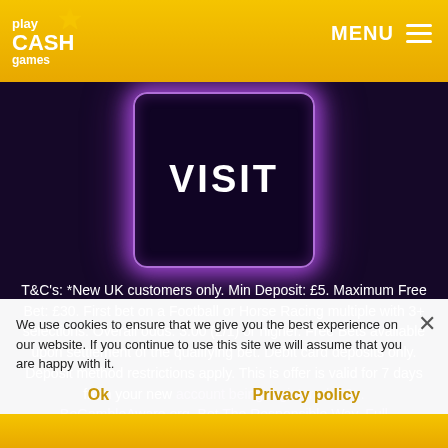play CASH games | MENU
[Figure (other): VISIT button with purple neon glow border on dark background]
T&C's: *New UK customers only. Min Deposit: £5. Maximum Free Bet: £30. First bet on a Football or Horse Racing multiple with 3+ selections. Overall odds: 3.00 (2/1) or higher. Free Bets available upon settlement of the qualifying bet. Debit card deposits only. Deposit method restrictions apply. This is offer is valid for 7 days from your new account being registered. 18+. BeGambleAware.org. Bet The Responsible Way. Full terms apply.
We use cookies to ensure that we give you the best experience on our website. If you continue to use this site we will assume that you are happy with it.
Ok | Privacy policy